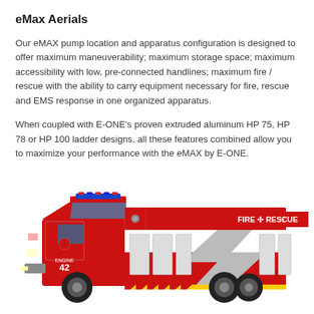eMax Aerials
Our eMAX pump location and apparatus configuration is designed to offer maximum maneuverability; maximum storage space; maximum accessibility with low, pre-connected handlines; maximum fire / rescue with the ability to carry equipment necessary for fire, rescue and EMS response in one organized apparatus.
When coupled with E-ONE's proven extruded aluminum HP 75, HP 78 or HP 100 ladder designs, all these features combined allow you to maximize your performance with the eMAX by E-ONE.
[Figure (photo): Red and white E-ONE fire truck / rescue apparatus labeled Engine 42 and E-42, with FIRE & RESCUE text on the side, shown in side profile view]